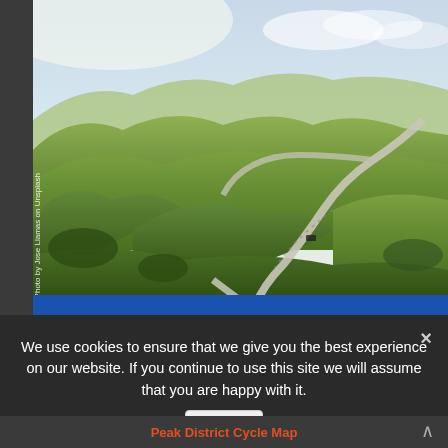[Figure (photo): Aerial view of a winding road through green rolling hills and valleys in the Peak District. A car is visible on the road. Sky visible in background.]
[Figure (illustration): White bicycle icon on blue background banner]
We use cookies to ensure that we give you the best experience on our website. If you continue to use this site we will assume that you are happy with it.
Ok
Peak District Cycle Map